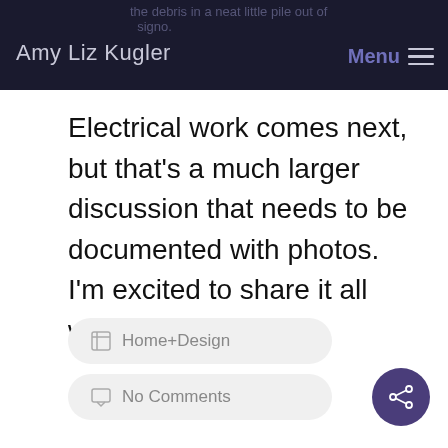Amy Liz Kugler | Menu
Electrical work comes next, but that's a much larger discussion that needs to be documented with photos. I'm excited to share it all with you guys!
Home+Design
No Comments